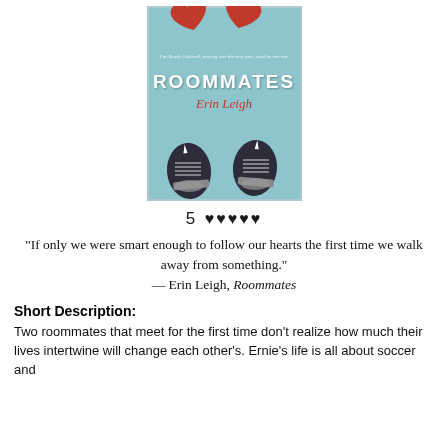[Figure (illustration): Book cover of 'Roommates' by Erin Leigh. Light blue background with two red heart shapes at top and two black ice hockey skates at the bottom. White title text 'ROOMMATES' in the center with script text 'Erin Leigh' below it. Subtitle text near top reads 'For Brady Caldwell, scoring was the easy part, until he met her.']
5 ♥♥♥♥♥
"If only we were smart enough to follow our hearts the first time we walk away from something."
— Erin Leigh, Roommates
Short Description:
Two roommates that meet for the first time don't realize how much their lives intertwine will change each other's. Ernie's life is all about soccer and